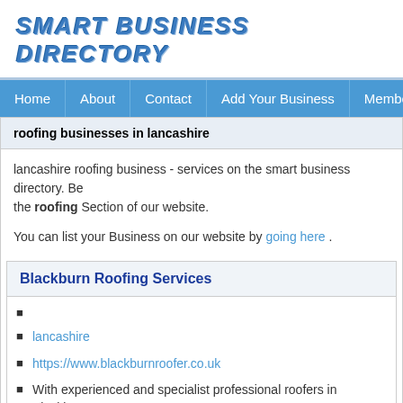SMART BUSINESS DIRECTORY
Home | About | Contact | Add Your Business | Members Login
roofing businesses in lancashire
lancashire roofing business - services on the smart business directory. Be... the roofing Section of our website.
You can list your Business on our website by going here .
Blackburn Roofing Services
lancashire
https://www.blackburnroofer.co.uk
With experienced and specialist professional roofers in Blackburn, B... roofing, with a 24-hour response time 2. New roofing (residential, co... roofing,......
Also Listed In: Blackburn